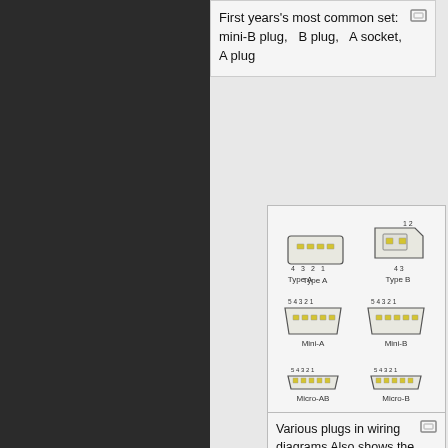First years's most common set: mini-B plug,  B plug,  A socket, A plug
[Figure (schematic): Wiring diagrams of various USB plugs: Type A, Type B, Mini-A, Mini-B, Micro-AB, Micro-B with pin numbering]
Various plugs in wiring diagrams Also shows the micro versions, and the mini-A not in the picture above
[Figure (photo): Photograph of a USB connector]